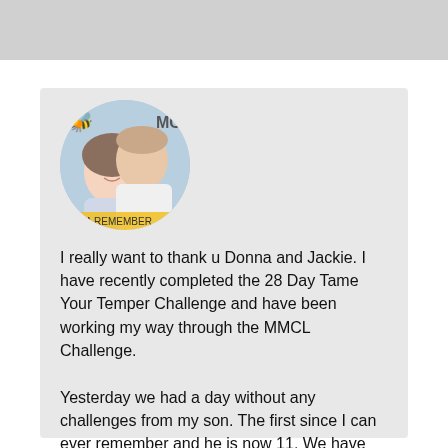[Figure (photo): Circular profile photo of a woman and a man (couple selfie) with a bee emoji overlay in the top left and 'MC' text in the top right. A yellow banner is visible at the bottom of the circle.]
I really want to thank u Donna and Jackie. I have recently completed the 28 Day Tame Your Temper Challenge and have been working my way through the MMCL Challenge.
Yesterday we had a day without any challenges from my son. The first since I can ever remember and he is now 11. We have also been discussing with him some issues